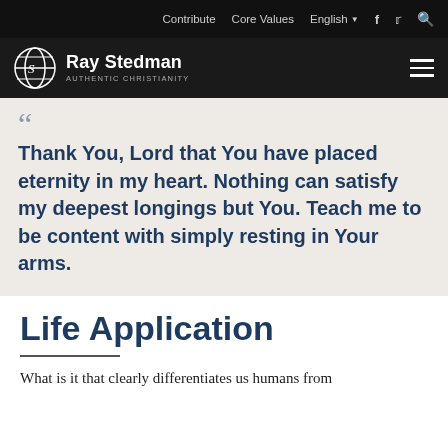Contribute  Core Values  English  f  tw  search
Ray Stedman AUTHENTIC CHRISTIANITY
“Thank You, Lord that You have placed eternity in my heart. Nothing can satisfy my deepest longings but You. Teach me to be content with simply resting in Your arms.
Life Application
What is it that clearly differentiates us humans from